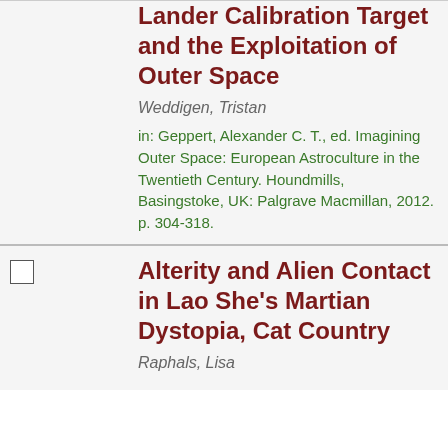Lander Calibration Target and the Exploitation of Outer Space
Weddigen, Tristan
in: Geppert, Alexander C. T., ed. Imagining Outer Space: European Astroculture in the Twentieth Century. Houndmills, Basingstoke, UK: Palgrave Macmillan, 2012. p. 304-318.
Alterity and Alien Contact in Lao She's Martian Dystopia, Cat Country
Raphals, Lisa